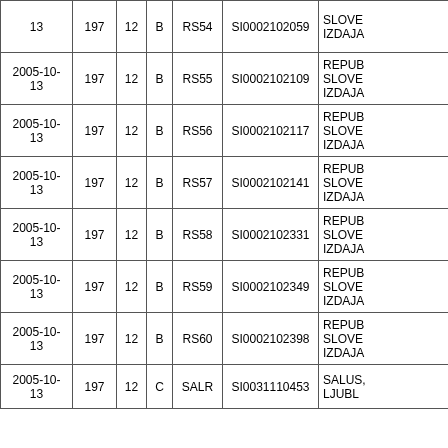| 13 | 197 | 12 | B | RS54 | SI0002102059 | SLOVE
IZDAJA |
| 2005-10-
13 | 197 | 12 | B | RS55 | SI0002102109 | REPUB
SLOVE
IZDAJA |
| 2005-10-
13 | 197 | 12 | B | RS56 | SI0002102117 | REPUB
SLOVE
IZDAJA |
| 2005-10-
13 | 197 | 12 | B | RS57 | SI0002102141 | REPUB
SLOVE
IZDAJA |
| 2005-10-
13 | 197 | 12 | B | RS58 | SI0002102331 | REPUB
SLOVE
IZDAJA |
| 2005-10-
13 | 197 | 12 | B | RS59 | SI0002102349 | REPUB
SLOVE
IZDAJA |
| 2005-10-
13 | 197 | 12 | B | RS60 | SI0002102398 | REPUB
SLOVE
IZDAJA |
| 2005-10-
13 | 197 | 12 | C | SALR | SI0031110453 | SALUS,
LJUBL |